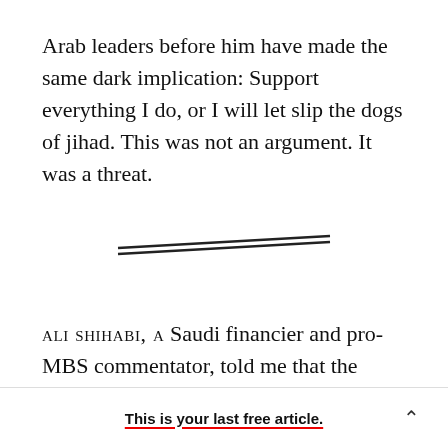Arab leaders before him have made the same dark implication: Support everything I do, or I will let slip the dogs of jihad. This was not an argument. It was a threat.
[Figure (other): Decorative double-line divider (two parallel diagonal lines centered on page)]
ALI SHIHABI, A Saudi financier and pro-MBS commentator, told me that the changes in Saudi
This is your last free article.